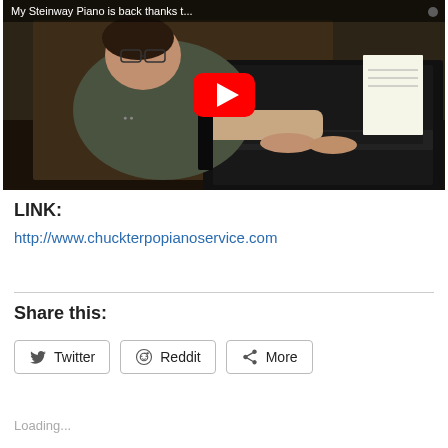[Figure (screenshot): YouTube video thumbnail showing a man playing a Steinway piano. Title bar reads 'My Steinway Piano is back thanks t...' with a red YouTube play button overlay in the center.]
LINK:
http://www.chuckterpopianoservice.com
Share this:
Twitter
Reddit
More
Loading...